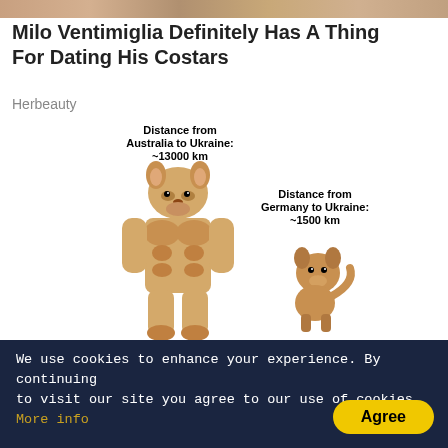[Figure (photo): Cropped banner image strip at top of page]
Milo Ventimiglia Definitely Has A Thing For Dating His Costars
Herbeauty
[Figure (illustration): Meme image showing buff doge labeled 'Distance from Australia to Ukraine: ~13000 km' and 'Australia has already delivered artillery and armored vehicles', alongside small normal doge labeled 'Distance from Germany to Ukraine: ~1500 km' and 'Germany to deliver 15 Gepard tanks to Ukraine in July']
The Most Poignant War Memes On Russia's Invasion Of Ukraine
Brainberries
[Figure (photo): Partial photo visible at bottom of page with '3D Spraying' ad overlay]
We use cookies to enhance your experience. By continuing to visit our site you agree to our use of cookies. More info